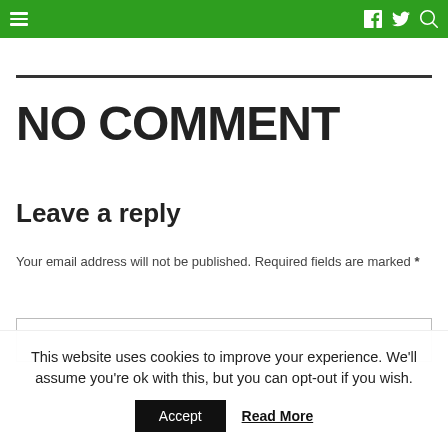Navigation bar with hamburger menu, Facebook, Twitter, and search icons
NO COMMENT
Leave a reply
Your email address will not be published. Required fields are marked *
This website uses cookies to improve your experience. We'll assume you're ok with this, but you can opt-out if you wish.
Accept   Read More